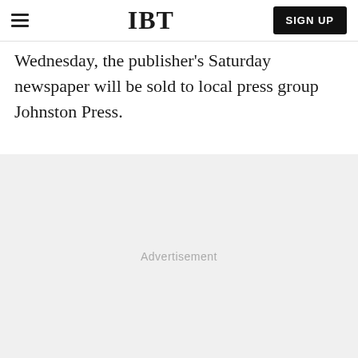IBT | SIGN UP
Wednesday, the publisher's Saturday newspaper will be sold to local press group Johnston Press.
[Figure (other): Advertisement placeholder area with light gray background and 'Advertisement' label text]